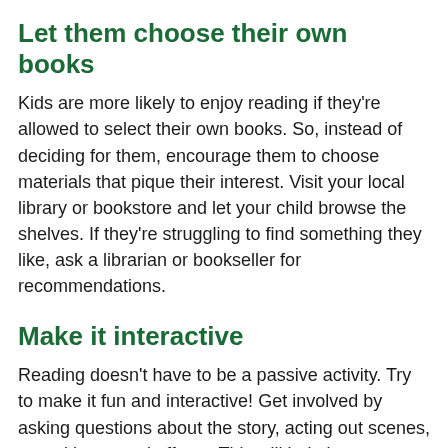Let them choose their own books
Kids are more likely to enjoy reading if they're allowed to select their own books. So, instead of deciding for them, encourage them to choose materials that pique their interest. Visit your local library or bookstore and let your child browse the shelves. If they're struggling to find something they like, ask a librarian or bookseller for recommendations.
Make it interactive
Reading doesn't have to be a passive activity. Try to make it fun and interactive! Get involved by asking questions about the story, acting out scenes, or making sound effects. This will help keep your child's attention focused and make the experience more enjoyable and immersive.